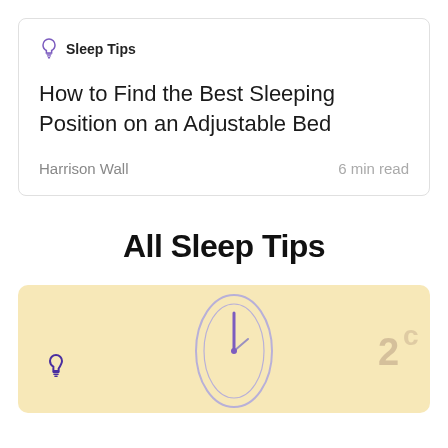Sleep Tips
How to Find the Best Sleeping Position on an Adjustable Bed
Harrison Wall
6 min read
All Sleep Tips
[Figure (illustration): A clock/sleep illustration on a warm yellow/cream background with a lightbulb icon at the bottom left and a clock face with a purple minute hand pointing upward in the center]